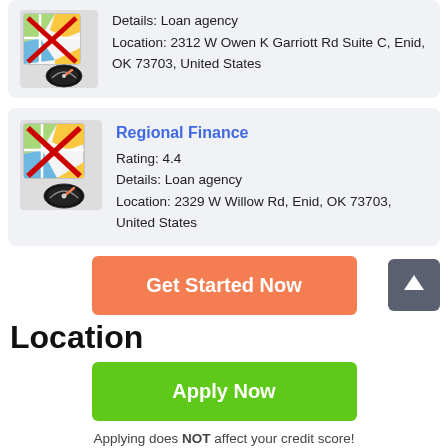Details: Loan agency
Location: 2312 W Owen K Garriott Rd Suite C, Enid, OK 73703, United States
Regional Finance
Rating: 4.4
Details: Loan agency
Location: 2329 W Willow Rd, Enid, OK 73703, United States
Get Started Now
Location
Apply Now
Applying does NOT affect your credit score!
No credit check to apply.